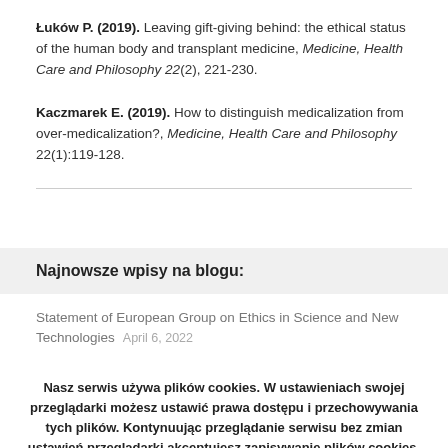Łuków P. (2019). Leaving gift-giving behind: the ethical status of the human body and transplant medicine, Medicine, Health Care and Philosophy 22(2), 221-230.
Kaczmarek E. (2019). How to distinguish medicalization from over-medicalization?, Medicine, Health Care and Philosophy 22(1):119-128.
Najnowsze wpisy na blogu:
Statement of European Group on Ethics in Science and New Technologies   April 6, 2022
Nasz serwis używa plików cookies. W ustawieniach swojej przeglądarki możesz ustawić prawa dostępu i przechowywania tych plików. Kontynuując przeglądanie serwisu bez zmian ustawień przeglądarki akceptujesz zapisywanie plików cookies.